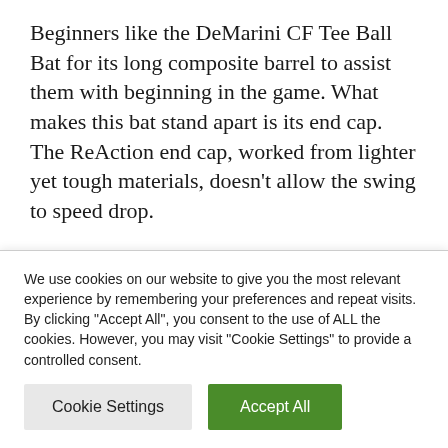Beginners like the DeMarini CF Tee Ball Bat for its long composite barrel to assist them with beginning in the game. What makes this bat stand apart is its end cap. The ReAction end cap, worked from lighter yet tough materials, doesn't allow the swing to speed drop.
If you are hoping to purchase from other
We use cookies on our website to give you the most relevant experience by remembering your preferences and repeat visits. By clicking "Accept All", you consent to the use of ALL the cookies. However, you may visit "Cookie Settings" to provide a controlled consent.